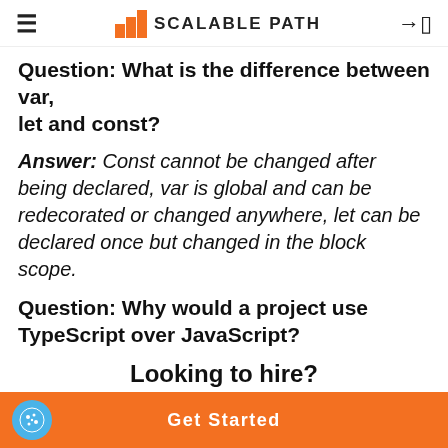SCALABLE PATH
Question: What is the difference between var, let and const?
Answer: Const cannot be changed after being declared, var is global and can be redecorated or changed anywhere, let can be declared once but changed in the block scope.
Question: Why would a project use TypeScript over JavaScript?
Answer: JavaScript does not provide a built-in
Looking to hire?
Get Started